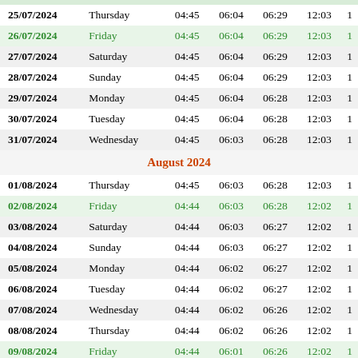| Date | Day | Col3 | Col4 | Col5 | Col6 | Col7 |
| --- | --- | --- | --- | --- | --- | --- |
| 25/07/2024 | Thursday | 04:45 | 06:04 | 06:29 | 12:03 | 1 |
| 26/07/2024 | Friday | 04:45 | 06:04 | 06:29 | 12:03 | 1 |
| 27/07/2024 | Saturday | 04:45 | 06:04 | 06:29 | 12:03 | 1 |
| 28/07/2024 | Sunday | 04:45 | 06:04 | 06:29 | 12:03 | 1 |
| 29/07/2024 | Monday | 04:45 | 06:04 | 06:28 | 12:03 | 1 |
| 30/07/2024 | Tuesday | 04:45 | 06:04 | 06:28 | 12:03 | 1 |
| 31/07/2024 | Wednesday | 04:45 | 06:03 | 06:28 | 12:03 | 1 |
| August 2024 |  |  |  |  |  |  |
| 01/08/2024 | Thursday | 04:45 | 06:03 | 06:28 | 12:03 | 1 |
| 02/08/2024 | Friday | 04:44 | 06:03 | 06:28 | 12:02 | 1 |
| 03/08/2024 | Saturday | 04:44 | 06:03 | 06:27 | 12:02 | 1 |
| 04/08/2024 | Sunday | 04:44 | 06:03 | 06:27 | 12:02 | 1 |
| 05/08/2024 | Monday | 04:44 | 06:02 | 06:27 | 12:02 | 1 |
| 06/08/2024 | Tuesday | 04:44 | 06:02 | 06:27 | 12:02 | 1 |
| 07/08/2024 | Wednesday | 04:44 | 06:02 | 06:26 | 12:02 | 1 |
| 08/08/2024 | Thursday | 04:44 | 06:02 | 06:26 | 12:02 | 1 |
| 09/08/2024 | Friday | 04:44 | 06:01 | 06:26 | 12:02 | 1 |